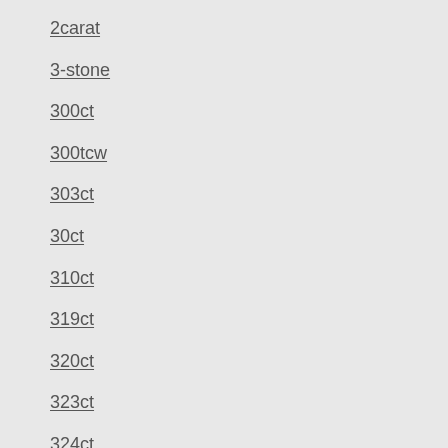2carat
3-stone
300ct
300tcw
303ct
30ct
310ct
319ct
320ct
323ct
324ct
325ct
329ct